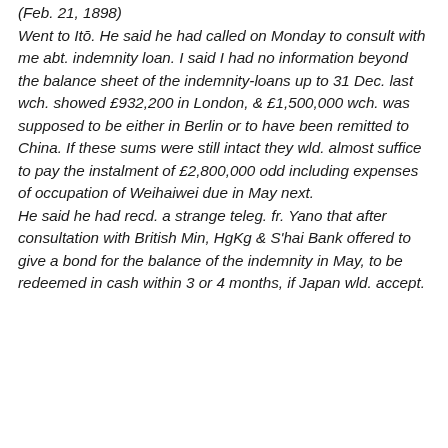(Feb. 21, 1898) Went to Itō. He said he had called on Monday to consult with me abt. indemnity loan. I said I had no information beyond the balance sheet of the indemnity-loans up to 31 Dec. last wch. showed £932,200 in London, & £1,500,000 wch. was supposed to be either in Berlin or to have been remitted to China. If these sums were still intact they wld. almost suffice to pay the instalment of £2,800,000 odd including expenses of occupation of Weihaiwei due in May next. He said he had recd. a strange teleg. fr. Yano that after consultation with British Min, HgKg & S'hai Bank offered to give a bond for the balance of the indemnity in May, to be redeemed in cash within 3 or 4 months, if Japan wld. accept.